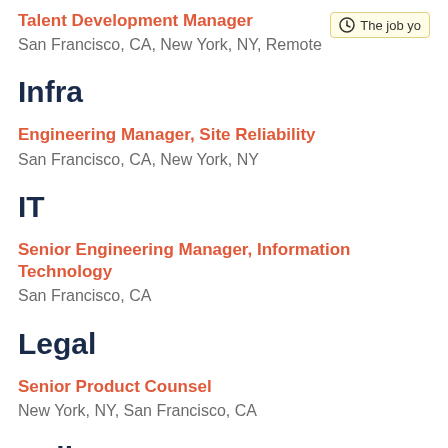Talent Development Manager
San Francisco, CA, New York, NY, Remote
Infra
Engineering Manager, Site Reliability
San Francisco, CA, New York, NY
IT
Senior Engineering Manager, Information Technology
San Francisco, CA
Legal
Senior Product Counsel
New York, NY, San Francisco, CA
Policy